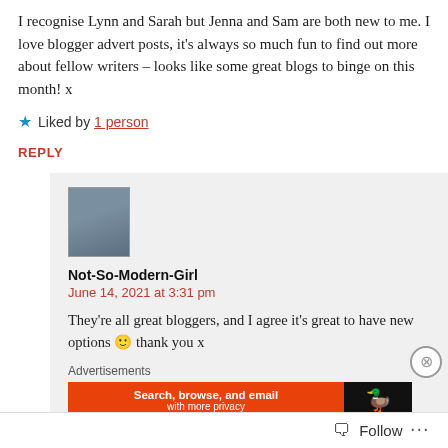I recognise Lynn and Sarah but Jenna and Sam are both new to me. I love blogger advert posts, it's always so much fun to find out more about fellow writers – looks like some great blogs to binge on this month! x
★ Liked by 1 person
REPLY
[Figure (photo): Avatar photo of commenter Not-So-Modern-Girl, a person sitting on steps]
Not-So-Modern-Girl
June 14, 2021 at 3:31 pm
They're all great bloggers, and I agree it's great to have new options 🙂 thank you x
Advertisements
[Figure (screenshot): DuckDuckGo advertisement banner: Search, browse, and email with more privacy]
Follow